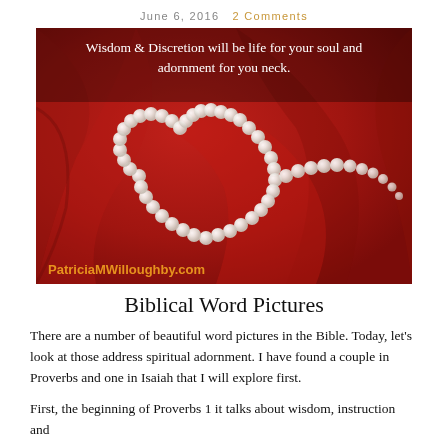June 6, 2016   2 Comments
[Figure (photo): Pearl necklace arranged in a heart shape on red silk fabric, with text overlay: 'Wisdom & Discretion will be life for your soul and adornment for you neck.' Watermark: PatriciaMWilloughby.com]
Biblical Word Pictures
There are a number of beautiful word pictures in the Bible. Today, let's look at those address spiritual adornment. I have found a couple in Proverbs and one in Isaiah that I will explore first.
First, the beginning of Proverbs 1 it talks about wisdom, instruction and